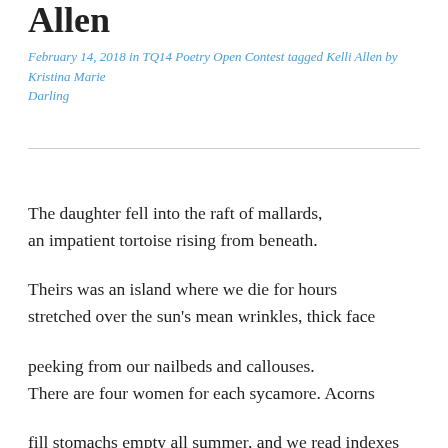Allen
February 14, 2018 in TQ14 Poetry Open Contest  tagged Kelli Allen by Kristina Marie Darling
The daughter fell into the raft of mallards,
an impatient tortoise rising from beneath.

Theirs was an island where we die for hours
stretched over the sun's mean wrinkles, thick face

peeking from our nailbeds and callouses.
There are four women for each sycamore. Acorns

fill stomachs empty all summer, and we read indexes
looking for grandiosity spelled-out in soft notes.